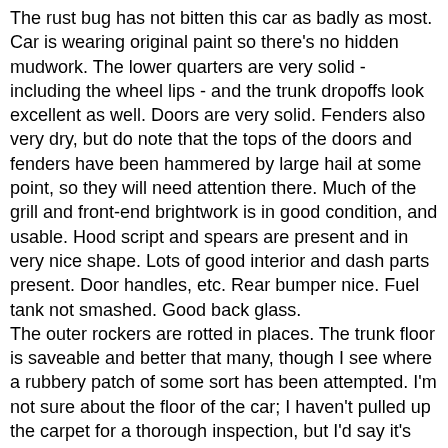The rust bug has not bitten this car as badly as most. Car is wearing original paint so there's no hidden mudwork. The lower quarters are very solid - including the wheel lips - and the trunk dropoffs look excellent as well. Doors are very solid. Fenders also very dry, but do note that the tops of the doors and fenders have been hammered by large hail at some point, so they will need attention there. Much of the grill and front-end brightwork is in good condition, and usable. Hood script and spears are present and in very nice shape. Lots of good interior and dash parts present. Door handles, etc. Rear bumper nice. Fuel tank not smashed. Good back glass.
The outer rockers are rotted in places. The trunk floor is saveable and better that many, though I see where a rubbery patch of some sort has been attempted. I'm not sure about the floor of the car; I haven't pulled up the carpet for a thorough inspection, but I'd say it's got to be rotten in spots at the least.
Finding these doors alone is extremely challenging, and worth the price of admission if you are restoring one of these cars. Car is sold as-is, where-is, as shown in the pictures.
Please ask any questions you might have, and...
Look at my 17STRAIGHT YEARSof 100% POSITIVE FEEDBACK, and BUY WITH CONFIDENCE!